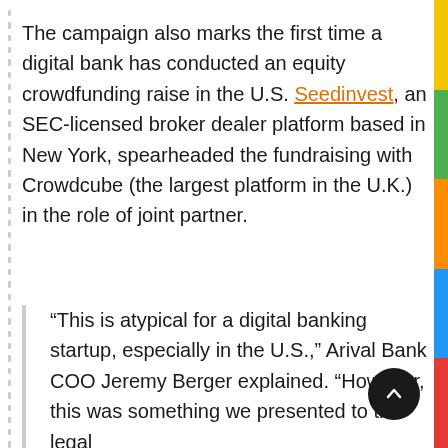The campaign also marks the first time a digital bank has conducted an equity crowdfunding raise in the U.S. Seedinvest, an SEC-licensed broker dealer platform based in New York, spearheaded the fundraising with Crowdcube (the largest platform in the U.K.) in the role of joint partner.
“This is atypical for a digital banking startup, especially in the U.S.,” Arival Bank COO Jeremy Berger explained. “However, this was something we presented to the legal